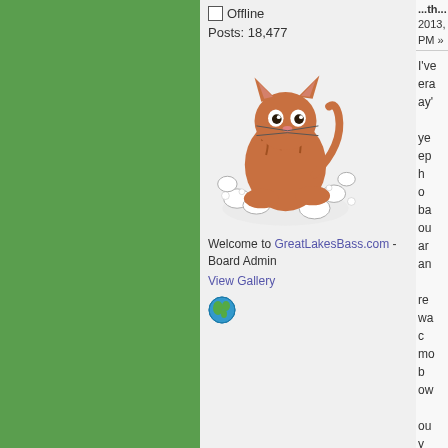Offline
Posts: 18,477
[Figure (illustration): Cartoon illustration of a cat or animal splashing in water/bubbles]
Welcome to GreatLakesBass.com - Board Admin
View Gallery
[Figure (illustration): Small green globe/world icon]
Reply #1 on... October 01, 2013, 06:08:26 PM »
That's what I've area in genera look like a 'bay
Many, many ye can't recall kep canal somewh thumb that wo smallmouth ba never got arou fished too mar squeeze in an
Wish I could re where that wa happens? Of c more smallmo smallmouth b entire Bay now
Good luck out was often my back in the da could launch i Point and fish